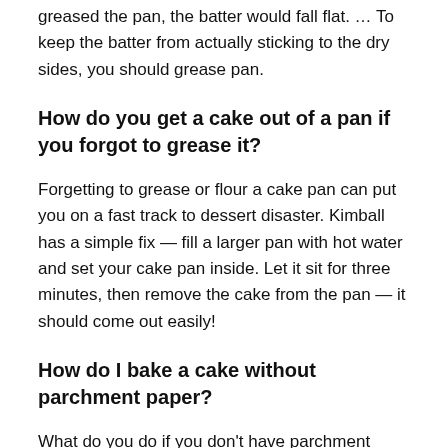greased the pan, the batter would fall flat. … To keep the batter from actually sticking to the dry sides, you should grease pan.
How do you get a cake out of a pan if you forgot to grease it?
Forgetting to grease or flour a cake pan can put you on a fast track to dessert disaster. Kimball has a simple fix — fill a larger pan with hot water and set your cake pan inside. Let it sit for three minutes, then remove the cake from the pan — it should come out easily!
How do I bake a cake without parchment paper?
What do you do if you don't have parchment paper? Silicone non-sticking baking mold is heat resistant sheet for baking which is a substitute for parchment paper. You can also grease and flour your cake pan thoroughly to reduce sticking.